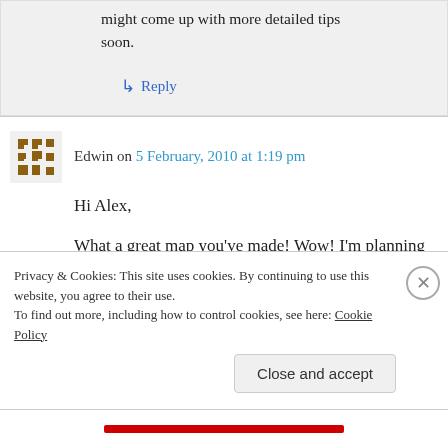might come up with more detailed tips soon.
↳ Reply
Edwin on 5 February, 2010 at 1:19 pm
Hi Alex,
What a great map you've made! Wow! I'm planning another trip to London and I am making a kind of book how to get around in London by
Privacy & Cookies: This site uses cookies. By continuing to use this website, you agree to their use.
To find out more, including how to control cookies, see here: Cookie Policy
Close and accept